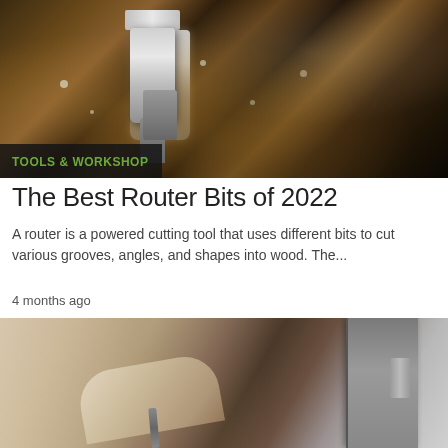[Figure (photo): Close-up photo of a router bit cutting into wood, with wood shavings flying around the spinning metal bit against a dark wood background]
TOOLS & WORKSHOP
The Best Router Bits of 2022
A router is a powered cutting tool that uses different bits to cut various grooves, angles, and shapes into wood. The...
4 months ago
[Figure (photo): Close-up photo of a hand inserting a key into a door lock, with a brown door and silver lock hardware visible]